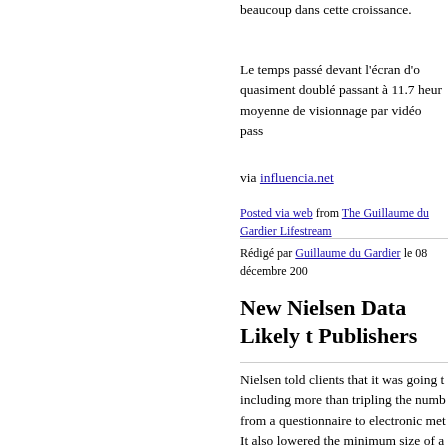beaucoup dans cette croissance.
Le temps passé devant l'écran d'o quasiment doublé passant à 11.7 heur moyenne de visionnage par vidéo pass
via influencia.net
Posted via web from The Guillaume du Gardier Lifestream
Rédigé par Guillaume du Gardier le 08 décembre 200
New Nielsen Data Likely t Publishers
Nielsen told clients that it was going t including more than tripling the numb from a questionnaire to electronic met It also lowered the minimum size of a 200.
Nielsen still uses quarterly surveys to combined with electronic measuremer the changes would produce much mor inherent bias toward well-known bran